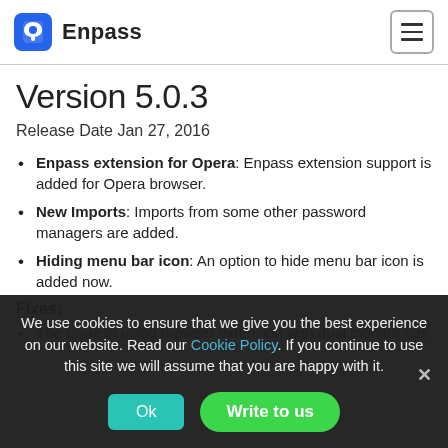Enpass
Version 5.0.3
Release Date Jan 27, 2016
Enpass extension for Opera: Enpass extension support is added for Opera browser.
New Imports: Imports from some other password managers are added.
Hiding menu bar icon: An option to hide menu bar icon is added now.
Fixes:
The issue in using browser extension with dual monitor has...
We use cookies to ensure that we give you the best experience on our website. Read our Cookie Policy. If you continue to use this site we will assume that you are happy with it.